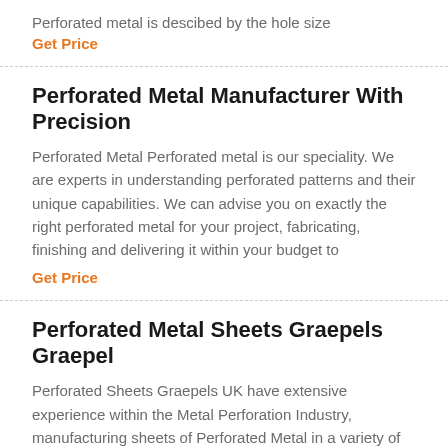Perforated metal is descibed by the hole size
Get Price
Perforated Metal Manufacturer With Precision
Perforated Metal Perforated metal is our speciality. We are experts in understanding perforated patterns and their unique capabilities. We can advise you on exactly the right perforated metal for your project, fabricating, finishing and delivering it within your budget to
Get Price
Perforated Metal Sheets Graepels Graepel
Perforated Sheets Graepels UK have extensive experience within the Metal Perforation Industry, manufacturing sheets of Perforated Metal in a variety of shapes, materials and patterns. Our Perforated sheets are made to meet customer specifications we fabricate